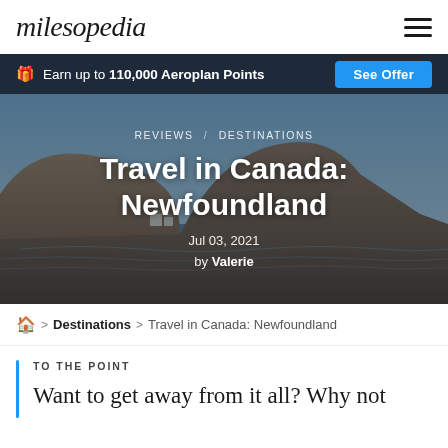milesopedia
Earn up to 110,000 Aeroplan Points  See Offer
[Figure (photo): Scenic coastal landscape of Newfoundland, Canada, with rocky hills, blue water, and small white buildings, overlaid with article title information]
Travel in Canada: Newfoundland
REVIEWS / DESTINATIONS
Jul 03, 2021
by Valerie
🏠 > Destinations > Travel in Canada: Newfoundland
TO THE POINT
Want to get away from it all? Why not